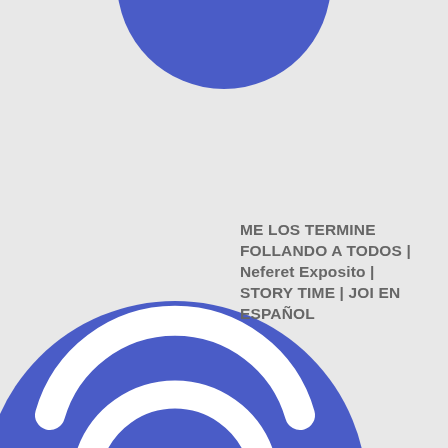[Figure (illustration): Two blue circles with white wifi signal icons. The top circle is partially visible at the top center of the image. The bottom circle is fully visible in the lower left, containing a white wifi symbol (two arcs and a dot).]
ME LOS TERMINE FOLLANDO A TODOS | Neferet Exposito | STORY TIME | JOI EN ESPAÑOL